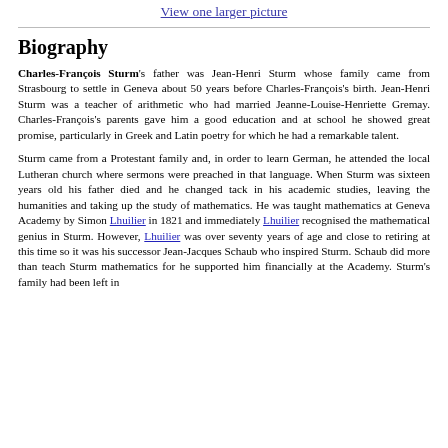View one larger picture
Biography
Charles-François Sturm's father was Jean-Henri Sturm whose family came from Strasbourg to settle in Geneva about 50 years before Charles-François's birth. Jean-Henri Sturm was a teacher of arithmetic who had married Jeanne-Louise-Henriette Gremay. Charles-François's parents gave him a good education and at school he showed great promise, particularly in Greek and Latin poetry for which he had a remarkable talent.
Sturm came from a Protestant family and, in order to learn German, he attended the local Lutheran church where sermons were preached in that language. When Sturm was sixteen years old his father died and he changed tack in his academic studies, leaving the humanities and taking up the study of mathematics. He was taught mathematics at Geneva Academy by Simon Lhuilier in 1821 and immediately Lhuilier recognised the mathematical genius in Sturm. However, Lhuilier was over seventy years of age and close to retiring at this time so it was his successor Jean-Jacques Schaub who inspired Sturm. Schaub did more than teach Sturm mathematics for he supported him financially at the Academy. Sturm's family had been left in